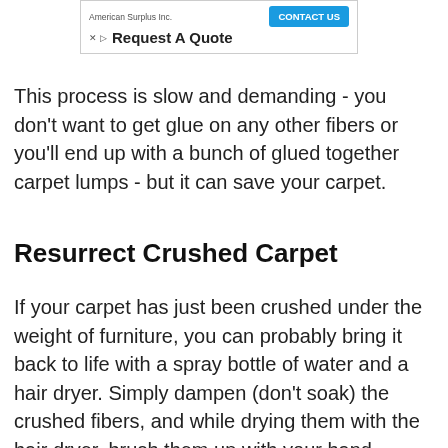[Figure (other): Advertisement banner for American Surplus Inc. with 'Request A Quote' text and a blue 'CONTACT US' button]
This process is slow and demanding - you don't want to get glue on any other fibers or you'll end up with a bunch of glued together carpet lumps - but it can save your carpet.
Resurrect Crushed Carpet
If your carpet has just been crushed under the weight of furniture, you can probably bring it back to life with a spray bottle of water and a hair dryer. Simply dampen (don't soak) the crushed fibers, and while drying them with the hair dryer, brush them up with your hand.